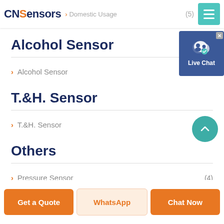CNSensors > Domestic Usage (5)
Alcohol Sensor
> Alcohol Sensor (4)
T.&H. Sensor
> T.&H. Sensor (3)
Others
> Pressure Sensor (4)
[Figure (screenshot): Live Chat widget overlay with Facebook-style icon and 'x' close button]
Get a Quote | WhatsApp | Chat Now